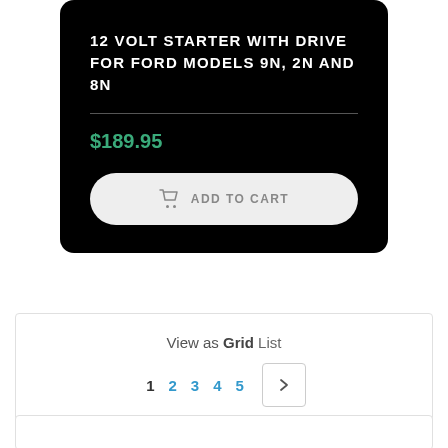12 VOLT STARTER WITH DRIVE FOR FORD MODELS 9N, 2N AND 8N
$189.95
ADD TO CART
View as Grid List
1 2 3 4 5 >